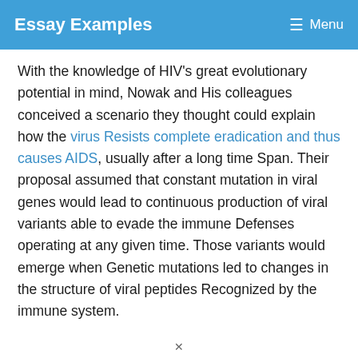Essay Examples  ☰ Menu
With the knowledge of HIV's great evolutionary potential in mind, Nowak and His colleagues conceived a scenario they thought could explain how the virus Resists complete eradication and thus causes AIDS, usually after a long time Span. Their proposal assumed that constant mutation in viral genes would lead to continuous production of viral variants able to evade the immune Defenses operating at any given time. Those variants would emerge when Genetic mutations led to changes in the structure of viral peptides Recognized by the immune system.